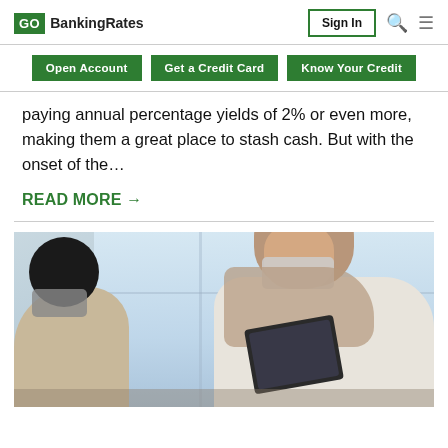GOBankingRates — Sign In
Open Account
Get a Credit Card
Know Your Credit
paying annual percentage yields of 2% or even more, making them a great place to stash cash. But with the onset of the…
READ MORE →
[Figure (photo): Two women at a table, one wearing a hijab and face mask looking at a tablet, the other with dark hair seen from behind, with large windows in the background]